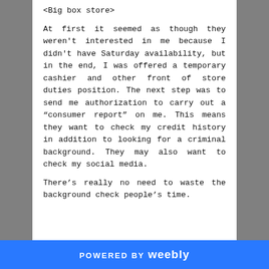<Big box store>

At first it seemed as though they weren't interested in me because I didn't have Saturday availability, but in the end, I was offered a temporary cashier and other front of store duties position. The next step was to send me authorization to carry out a “consumer report” on me. This means they want to check my credit history in addition to looking for a criminal background. They may also want to check my social media.

There’s really no need to waste the background check people’s time.
POWERED BY weebly